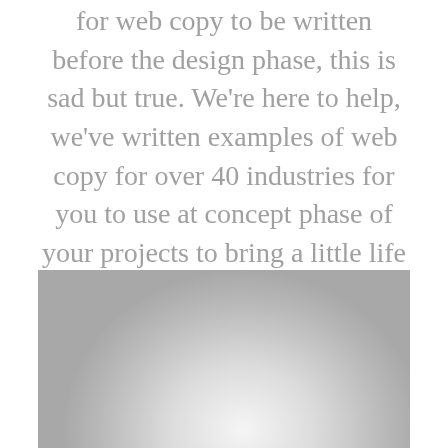for web copy to be written before the design phase, this is sad but true. We're here to help, we've written examples of web copy for over 40 industries for you to use at concept phase of your projects to bring a little life and realism to your designs and help you think about who and what you are designing for. We want clients and designers alike to think about their graphic design.
[Figure (photo): Grayscale photograph, partially cropped, showing a curved light-colored object against a light gray background.]